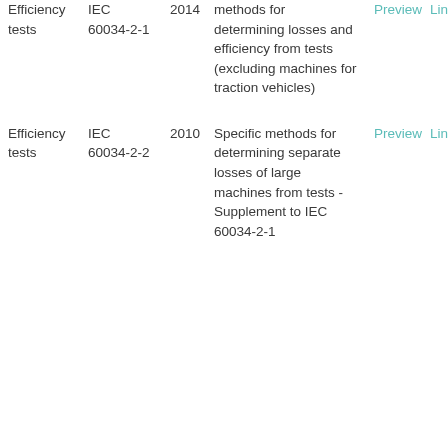| Type | Standard | Year | Description | Preview | Link |
| --- | --- | --- | --- | --- | --- |
| Efficiency tests | IEC 60034-2-1 | 2014 | methods for determining losses and efficiency from tests (excluding machines for traction vehicles) | Preview | Link |
| Efficiency tests | IEC 60034-2-2 | 2010 | Specific methods for determining separate losses of large machines from tests - Supplement to IEC 60034-2-1 | Preview | Link |